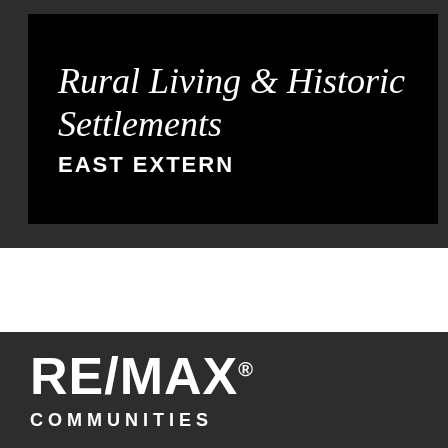Rural Living & Historic Settlements EAST EXTERN
[Figure (logo): RE/MAX logo in white bold sans-serif text on dark background]
COMMUNITIES